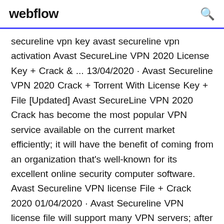webflow
secureline vpn key avast secureline vpn activation Avast SecureLine VPN 2020 License Key + Crack & ... 13/04/2020 · Avast Secureline VPN 2020 Crack + Torrent With License Key + File [Updated] Avast SecureLine VPN 2020 Crack has become the most popular VPN service available on the current market efficiently; it will have the benefit of coming from an organization that's well-known for its excellent online security computer software. Avast Secureline VPN license File + Crack 2020 01/04/2020 · Avast Secureline VPN license file will support many VPN servers; after downloading this program, you will be able to change your location to various parts meaning